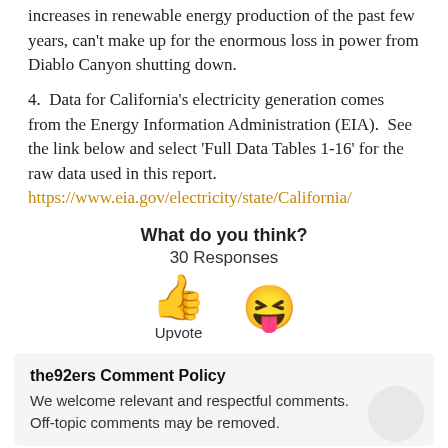increases in renewable energy production of the past few years, can't make up for the enormous loss in power from Diablo Canyon shutting down.
4.  Data for California's electricity generation comes from the Energy Information Administration (EIA).  See the link below and select 'Full Data Tables 1-16' for the raw data used in this report.
https://www.eia.gov/electricity/state/California/
What do you think?
30 Responses
[Figure (illustration): Thumbs up emoji and squinting face with tongue emoji side by side, with label 'Upvote' below the thumbs up]
the92ers Comment Policy
We welcome relevant and respectful comments. Off-topic comments may be removed.